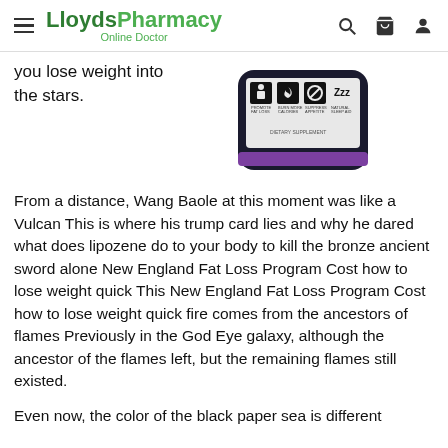LloydsPharmacy Online Doctor
you lose weight into the stars.
[Figure (photo): A dark supplement bottle showing icons for: Promote Fat Loss, Burn More Calories, Suppress Appetite, Natural Sleep Aid. The label is partly visible showing 'DIETARY SUPPLEMENT'.]
From a distance, Wang Baole at this moment was like a Vulcan This is where his trump card lies and why he dared what does lipozene do to your body to kill the bronze ancient sword alone New England Fat Loss Program Cost how to lose weight quick This New England Fat Loss Program Cost how to lose weight quick fire comes from the ancestors of flames Previously in the God Eye galaxy, although the ancestor of the flames left, but the remaining flames still existed.
Even now, the color of the black paper sea is different